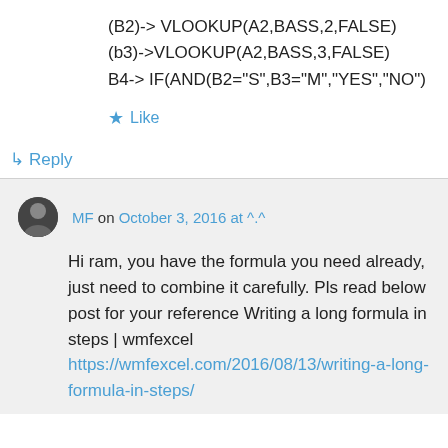(B2)-> VLOOKUP(A2,BASS,2,FALSE)
(b3)->VLOOKUP(A2,BASS,3,FALSE)
B4-> IF(AND(B2="S",B3="M","YES","NO")
★ Like
↳ Reply
MF on October 3, 2016 at ^.^
Hi ram, you have the formula you need already, just need to combine it carefully. Pls read below post for your reference Writing a long formula in steps | wmfexcel https://wmfexcel.com/2016/08/13/writing-a-long-formula-in-steps/